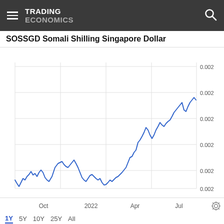TRADING ECONOMICS
SOSSGD Somali Shilling Singapore Dollar
[Figure (continuous-plot): Line chart showing SOSSGD (Somali Shilling to Singapore Dollar) exchange rate over approximately 1 year period from around August 2021 to August 2022. The y-axis shows values around 0.002 (with fine gradations). The rate shows general upward trend from lows near 0.002 in Aug-Sep 2021, rises to a local peak around Oct-Nov 2021, dips, then trends upward strongly from early 2022 through July-August 2022 reaching highs above 0.002.]
Oct  2022  Apr  Jul
1Y  5Y  10Y  25Y  All